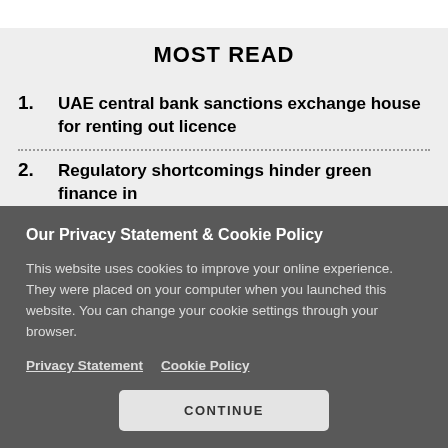MOST READ
1. UAE central bank sanctions exchange house for renting out licence
2. Regulatory shortcomings hinder green finance in
Our Privacy Statement & Cookie Policy
This website uses cookies to improve your online experience. They were placed on your computer when you launched this website. You can change your cookie settings through your browser.
Privacy Statement   Cookie Policy
CONTINUE